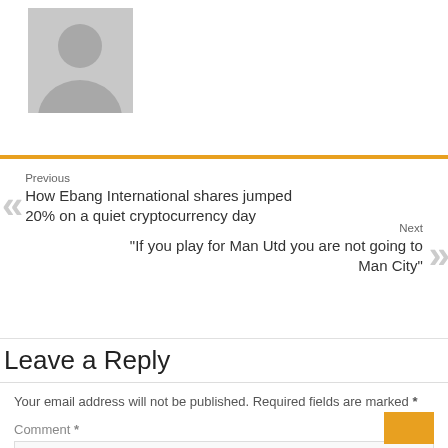[Figure (photo): Default user avatar placeholder image - grey silhouette of a person on light grey background]
Previous
How Ebang International shares jumped 20% on a quiet cryptocurrency day
Next
“If you play for Man Utd you are not going to Man City”
Leave a Reply
Your email address will not be published. Required fields are marked *
Comment *